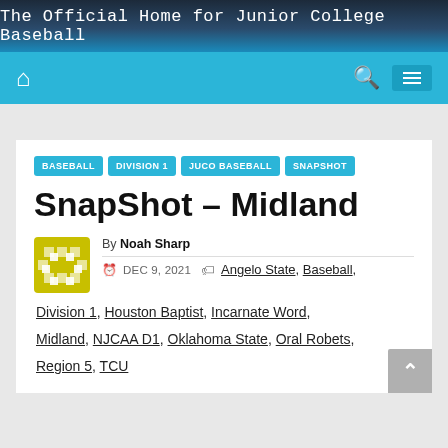The Official Home for Junior College Baseball
BASEBALL  DIVISION 1  JUCO BASEBALL  SNAPSHOT
SnapShot – Midland
By Noah Sharp
DEC 9, 2021
Angelo State, Baseball, Division 1, Houston Baptist, Incarnate Word, Midland, NJCAA D1, Oklahoma State, Oral Robets, Region 5, TCU